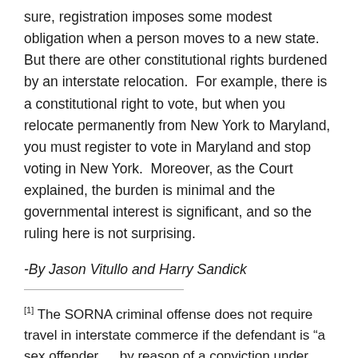sure, registration imposes some modest obligation when a person moves to a new state. But there are other constitutional rights burdened by an interstate relocation. For example, there is a constitutional right to vote, but when you relocate permanently from New York to Maryland, you must register to vote in Maryland and stop voting in New York. Moreover, as the Court explained, the burden is minimal and the governmental interest is significant, and so the ruling here is not surprising.
-By Jason Vitullo and Harry Sandick
[1] The SORNA criminal offense does not require travel in interstate commerce if the defendant is "a sex offender … by reason of a conviction under Federal law (including the Uniform Code of Military Justice), the law of the District of Columbia, Indian tribal law, or the law of any territory or possession of the United States." 18